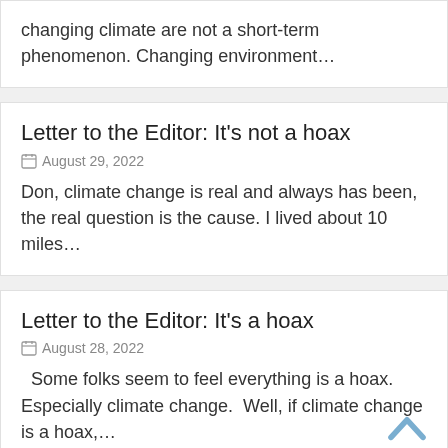changing climate are not a short-term phenomenon. Changing environment…
Letter to the Editor: It's not a hoax
August 29, 2022
Don, climate change is real and always has been, the real question is the cause. I lived about 10 miles…
Letter to the Editor: It's a hoax
August 28, 2022
Some folks seem to feel everything is a hoax. Especially climate change.  Well, if climate change is a hoax,…